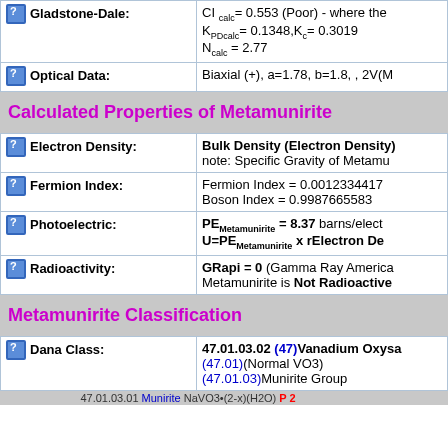| Property | Value |
| --- | --- |
| Gladstone-Dale: | CI calc= 0.553 (Poor) - where the KPDcalc= 0.1348,Kc= 0.3019 Ncalc = 2.77 |
| Optical Data: | Biaxial (+), a=1.78, b=1.8, , 2V(M |
Calculated Properties of Metamunirite
| Property | Value |
| --- | --- |
| Electron Density: | Bulk Density (Electron Density) note: Specific Gravity of Metamu |
| Fermion Index: | Fermion Index = 0.0012334417 Boson Index = 0.9987665583 |
| Photoelectric: | PEMetamunirite = 8.37 barns/elect U=PEMetamunirite x rElectron De |
| Radioactivity: | GRapi = 0 (Gamma Ray America Metamunirite is Not Radioactive |
Metamunirite Classification
| Property | Value |
| --- | --- |
| Dana Class: | 47.01.03.02 (47)Vanadium Oxysa (47.01)(Normal VO3) (47.01.03)Munirite Group |
47.01.03.01 Munirite NaVO3•(2-x)(H2O) P 2